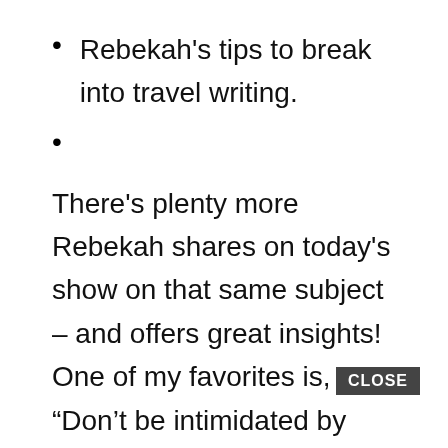Rebekah's tips to break into travel writing.
There's plenty more Rebekah shares on today's show on that same subject – and offers great insights! One of my favorites is, “Don't be intimidated by people with more experience.” Be sure to listen to hear what she has to say
on the importance finding your niche so you can stand out and have a book